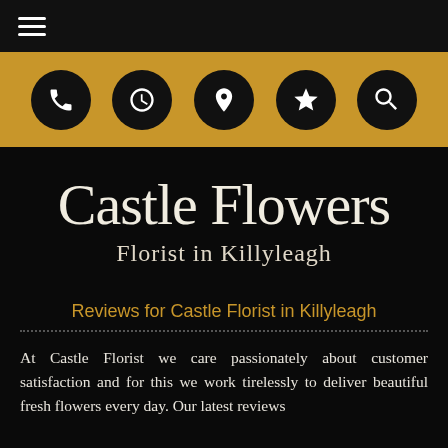[Figure (other): Top navigation bar with hamburger menu icon (three horizontal lines) on dark background]
[Figure (other): Gold/amber icon bar with five circular black icons: phone, clock, location pin, star, and search]
Castle Flowers
Florist in Killyleagh
Reviews for Castle Florist in Killyleagh
At Castle Florist we care passionately about customer satisfaction and for this we work tirelessly to deliver beautiful fresh flowers every day. Our latest reviews